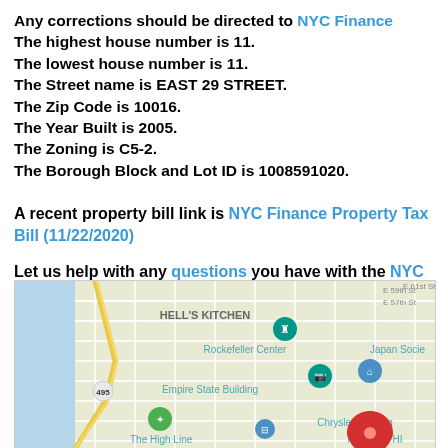Any corrections should be directed to NYC Finance
The highest house number is 11.
The lowest house number is 11.
The Street name is EAST 29 STREET.
The Zip Code is 10016.
The Year Built is 2005.
The Zoning is C5-2.
The Borough Block and Lot ID is 1008591020.
A recent property bill link is NYC Finance Property Tax Bill (11/22/2020)
Let us help with any questions you have with the NYC property tax search page
[Figure (map): Google Maps view of midtown Manhattan showing Hell's Kitchen, Rockefeller Center, Empire State Building, Chrysler Building, Japan Society, The High Line, Murray Hill areas with a red location pin dropped near East 29th Street.]